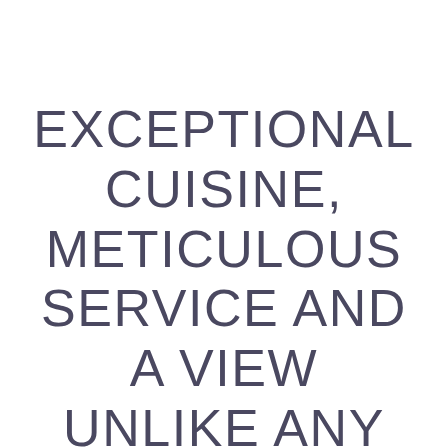EXCEPTIONAL CUISINE, METICULOUS SERVICE AND A VIEW UNLIKE ANY OTHER